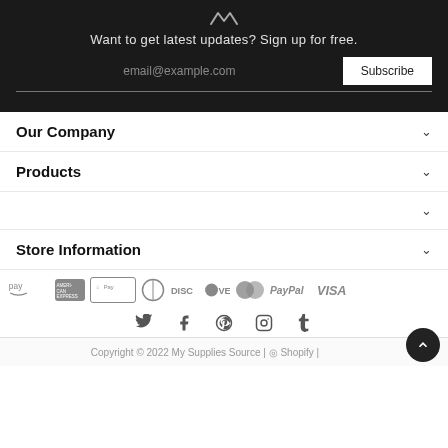[Figure (logo): Stylized W logo in dark header section]
Want to get latest updates? Sign up for free.
email@example.com
Subscribe
Our Company
Products
Store Information
[Figure (infographic): Payment method icons: Amazon Pay, American Express, Apple Pay, Diners Club, Discover, Mastercard, PayPal, VISA]
[Figure (infographic): Social media icons: Twitter, Facebook, Pinterest, Instagram, Tumblr]
Copyright © 2022 My Supplies Source | ⓢ Shopify |